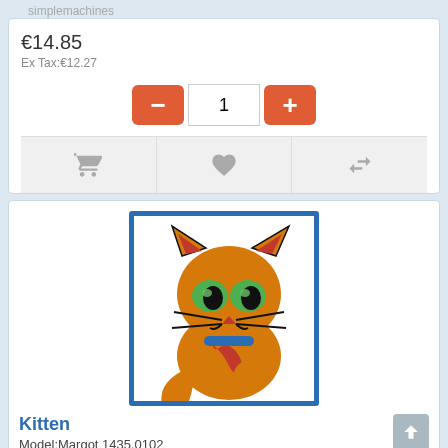€14.85
Ex Tax:€12.27
[Figure (screenshot): Quantity selector with minus button, input showing 1, and plus button]
[Figure (illustration): Cartoon kitten illustration with orange body, green eyes, red nose, blue collar and red bow, on white background with blue border frame]
Kitten
Model:Margot 1435.0102